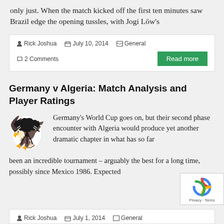only just. When the match kicked off the first ten minutes saw Brazil edge the opening tussles, with Jogi Löw's
Rick Joshua   July 10, 2014   General   2 Comments
Read more
Germany v Algeria: Match Analysis and Player Ratings
Germany's World Cup goes on, but their second phase encounter with Algeria would produce yet another dramatic chapter in what has so far been an incredible tournament – arguably the best for a long time, possibly since Mexico 1986. Expected
Rick Joshua   July 1, 2014   General